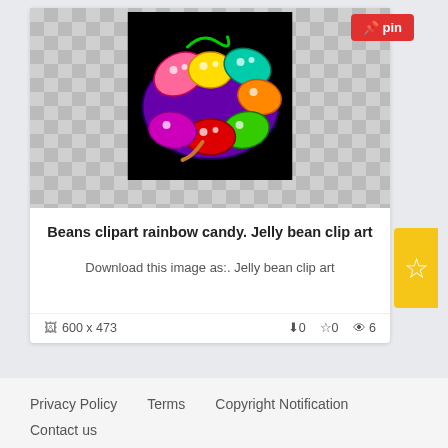[Figure (illustration): Colorful cartoon jelly beans with smiley faces on a black background, displayed on a checkerboard transparency pattern. A red 'pin' button appears in the top right corner.]
Beans clipart rainbow candy. Jelly bean clip art
Download this image as:. Jelly bean clip art
📷 600 x 473   ⬇ 0   ☆ 0   👁 6
Privacy Policy   Terms   Copyright Notification   Contact us